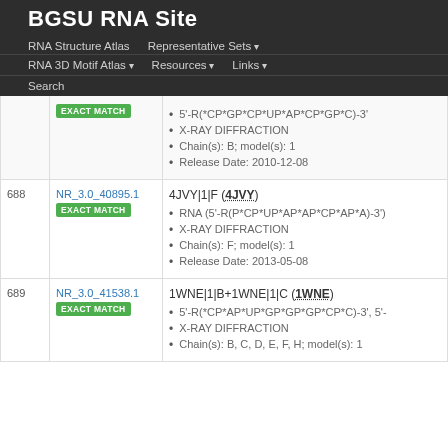BGSU RNA Site
RNA Structure Atlas | Representative Sets ▾ | RNA 3D Motif Atlas ▾ | Resources ▾ | Links ▾ | Search
| # | ID | Details |
| --- | --- | --- |
|  | NR_3.0_... EXACT MATCH | 5'-R(*CP*GP*CP*UP*AP*CP*GP*C)-3' • X-RAY DIFFRACTION • Chain(s): B; model(s): 1 • Release Date: 2010-12-08 |
| 688 | NR_3.0_40895.1 EXACT MATCH | 4JVY|1|F (4JVY) • RNA (5'-R(P*CP*UP*AP*AP*CP*AP*A)-3') • X-RAY DIFFRACTION • Chain(s): F; model(s): 1 • Release Date: 2013-05-08 |
| 689 | NR_3.0_41538.1 EXACT MATCH | 1WNE|1|B+1WNE|1|C (1WNE) • 5'-R(*CP*AP*UP*GP*GP*GP*CP*C)-3', 5'- • X-RAY DIFFRACTION • Chain(s): B, C, D, E, F, H; model(s): 1 |